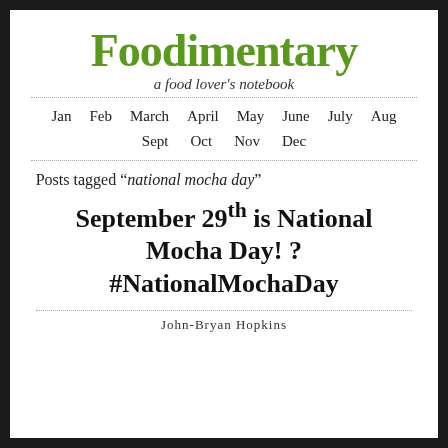Foodimentary
a food lover's notebook
Jan  Feb  March  April  May  June  July  Aug  Sept  Oct  Nov  Dec
Posts tagged “national mocha day”
September 29th is National Mocha Day! ? #NationalMochaDay
John-Bryan Hopkins